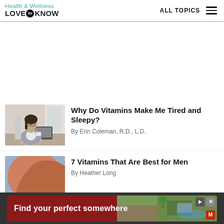Health & Wellness LoveToKnow — ALL TOPICS
[Figure (photo): Woman sitting at desk with laptop, yawning or covering mouth with hand, wearing glasses and blazer]
Why Do Vitamins Make Me Tired and Sleepy?
By Erin Coleman, R.D., L.D.
[Figure (photo): Close-up of person's shoulder/back, warm skin tone against blue background]
7 Vitamins That Are Best for Men
By Heather Long
[Figure (other): Advertisement banner: Find your perfect somewhere — travel/hotel ad with outdoor imagery]